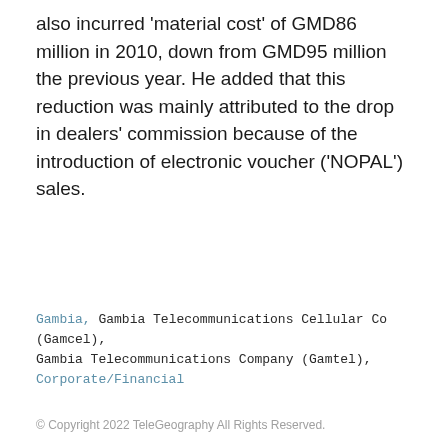also incurred 'material cost' of GMD86 million in 2010, down from GMD95 million the previous year. He added that this reduction was mainly attributed to the drop in dealers' commission because of the introduction of electronic voucher ('NOPAL') sales.
Gambia, Gambia Telecommunications Cellular Co (Gamcel), Gambia Telecommunications Company (Gamtel), Corporate/Financial
© Copyright 2022 TeleGeography All Rights Reserved.